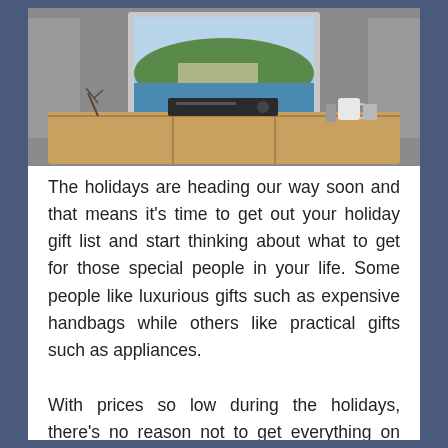[Figure (photo): A living room entertainment setup with a flat-screen TV mounted on or sitting on a wooden media console/credenza. The TV displays a scenic coastal landscape with blue water and green hills. Below the TV is an AV receiver, and on the right side of the console is a white mug and small decorative items. The room has gray walls.]
The holidays are heading our way soon and that means it's time to get out your holiday gift list and start thinking about what to get for those special people in your life. Some people like luxurious gifts such as expensive handbags while others like practical gifts such as appliances.
With prices so low during the holidays, there's no reason not to get everything on your list. In addition